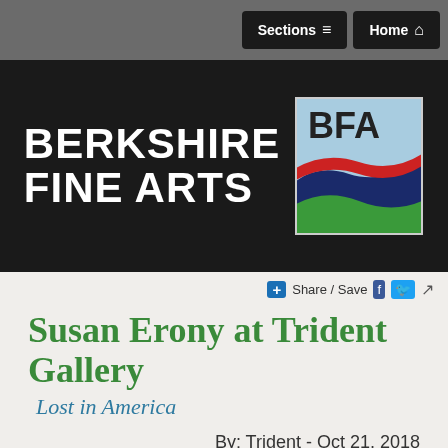Sections   Home
[Figure (logo): Berkshire Fine Arts logo with BFA emblem — white text 'BERKSHIRE FINE ARTS' on black background, with a square BFA logo showing wavy red, dark blue, and green bands on a light blue background]
Share / Save
Susan Erony at Trident Gallery
Lost in America
By: Trident - Oct 21, 2018
[Figure (other): Navigation arrow buttons (< >) on dark teal/green background]